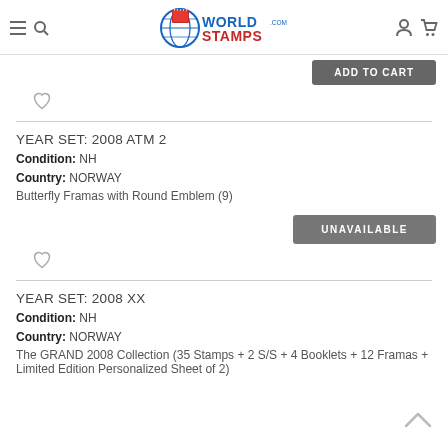WorldStamps.com
ADD TO CART
[Figure (other): Heart/wishlist icon (outline)]
YEAR SET: 2008 ATM 2
Condition: NH
Country: NORWAY
Butterfly Framas with Round Emblem (9)
UNAVAILABLE
[Figure (other): Heart/wishlist icon (outline)]
YEAR SET: 2008 XX
Condition: NH
Country: NORWAY
The GRAND 2008 Collection (35 Stamps + 2 S/S + 4 Booklets + 12 Framas + Limited Edition Personalized Sheet of 2)